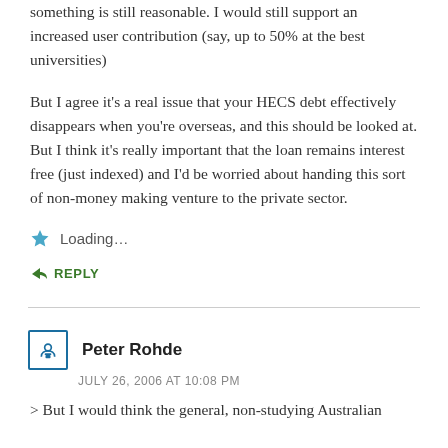something is still reasonable. I would still support an increased user contribution (say, up to 50% at the best universities)
But I agree it’s a real issue that your HECS debt effectively disappears when you’re overseas, and this should be looked at. But I think it’s really important that the loan remains interest free (just indexed) and I’d be worried about handing this sort of non-money making venture to the private sector.
Loading...
REPLY
Peter Rohde
JULY 26, 2006 AT 10:08 PM
> But I would think the general, non-studying Australian